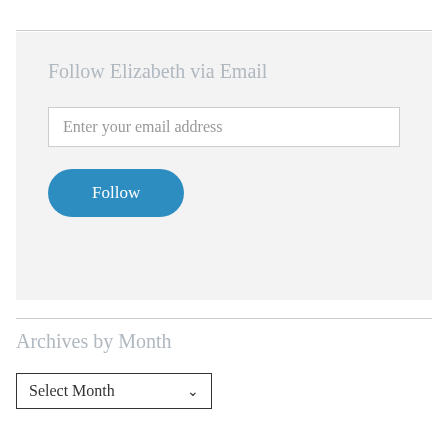Follow Elizabeth via Email
Enter your email address
Follow
Archives by Month
Select Month